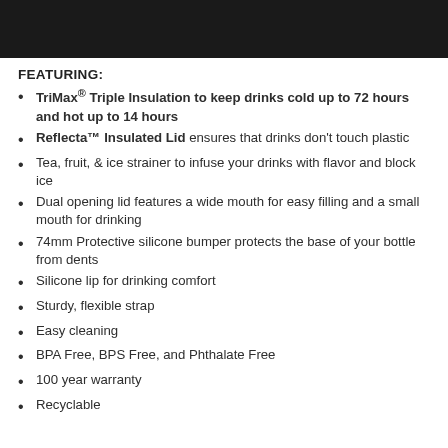[Figure (photo): Black banner/header image at the top of the page]
FEATURING:
TriMax® Triple Insulation to keep drinks cold up to 72 hours and hot up to 14 hours
Reflecta™ Insulated Lid ensures that drinks don't touch plastic
Tea, fruit, & ice strainer to infuse your drinks with flavor and block ice
Dual opening lid features a wide mouth for easy filling and a small mouth for drinking
74mm Protective silicone bumper protects the base of your bottle from dents
Silicone lip for drinking comfort
Sturdy, flexible strap
Easy cleaning
BPA Free, BPS Free, and Phthalate Free
100 year warranty
Recyclable